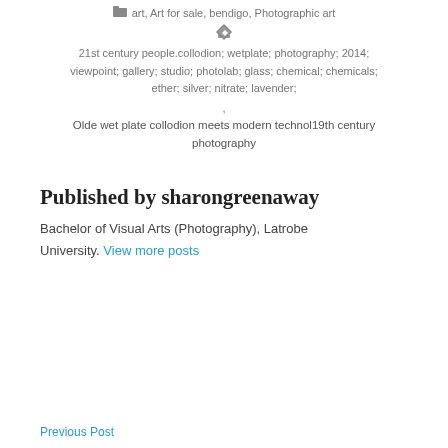art, Art for sale, bendigo, Photographic art
21st century people.collodion; wetplate; photography; 2014; viewpoint; gallery; studio; photolab; glass; chemical; chemicals; ether; silver; nitrate; lavender;
,
Olde wet plate collodion meets modern technol19th century photography
Published by sharongreenaway
Bachelor of Visual Arts (Photography), Latrobe University. View more posts
Previous Post